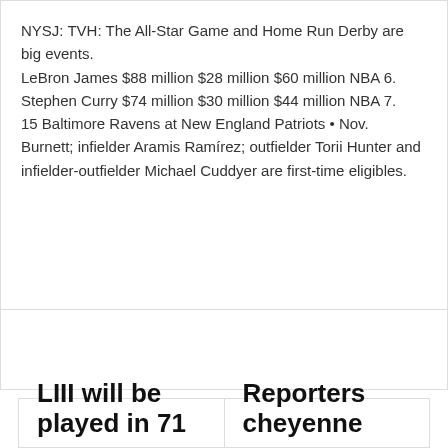NYSJ: TVH: The All-Star Game and Home Run Derby are big events.
LeBron James $88 million $28 million $60 million NBA 6.
Stephen Curry $74 million $30 million $44 million NBA 7.
15 Baltimore Ravens at New England Patriots • Nov.
Burnett; infielder Aramis Ramírez; outfielder Torii Hunter and infielder-outfielder Michael Cuddyer are first-time eligibles.
LIII will be played in 71
Reporters cheyenne